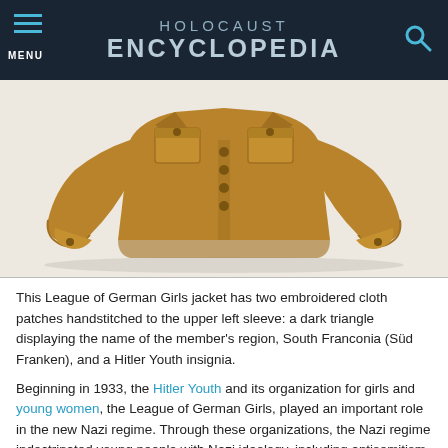HOLOCAUST ENCYCLOPEDIA
[Figure (photo): A tan/brown League of German Girls jacket laid flat against a white background, showing two sleeves spread out and the front chest with buttons and pockets.]
This League of German Girls jacket has two embroidered cloth patches handstitched to the upper left sleeve: a dark triangle displaying the name of the member's region, South Franconia (Süd Franken), and a Hitler Youth insignia.
Beginning in 1933, the Hitler Youth and its organization for girls and young women, the League of German Girls, played an important role in the new Nazi regime. Through these organizations, the Nazi regime indoctrinated young people with Nazi ideology, including antisemitism and racism. All prospective members of the Hitler Youth had to be "Aryans" and "genetically healthy." Their Adolf Hitler and the Third Reich. Hitler Youth boys required to wear military-style uniforms, in keeping "soldierly" character of the Nazi Party, and conform to certain